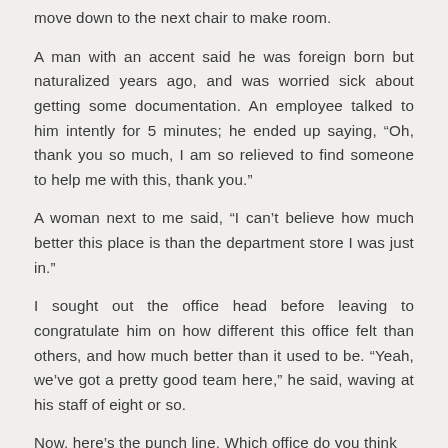move down to the next chair to make room.
A man with an accent said he was foreign born but naturalized years ago, and was worried sick about getting some documentation. An employee talked to him intently for 5 minutes; he ended up saying, “Oh, thank you so much, I am so relieved to find someone to help me with this, thank you.”
A woman next to me said, “I can’t believe how much better this place is than the department store I was just in.”
I sought out the office head before leaving to congratulate him on how different this office felt than others, and how much better than it used to be. “Yeah, we’ve got a pretty good team here,” he said, waving at his staff of eight or so.
Now, here’s the punch line. Which office do you think